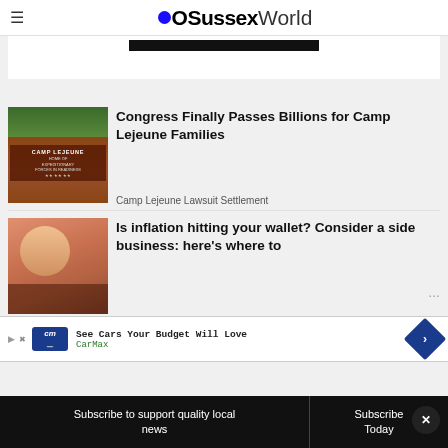OSussexWorld
[Figure (photo): Black bar / partial image top]
[Figure (photo): Camp Lejeune sign with brick background and trees]
Congress Finally Passes Billions for Camp Lejeune Families
Camp Lejeune Lawsuit Settlement
[Figure (photo): Person smiling, inflation article thumbnail]
Is inflation hitting your wallet? Consider a side business: here's where to
[Figure (infographic): CarMax advertisement: See Cars Your Budget Will Love]
Subscribe to support quality local news
Subscribe Today